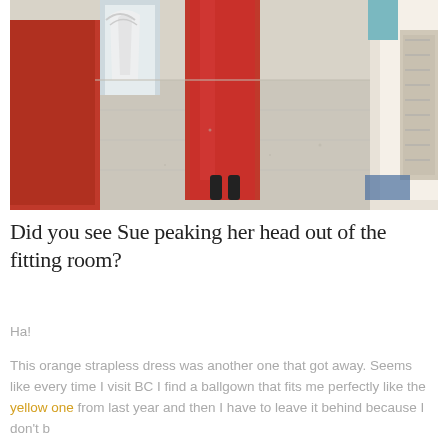[Figure (photo): A retail store fitting room hallway. A person wearing a long red/orange strapless dress is visible from the middle down; hangers and red shelving units line the sides, and the tiled floor is visible.]
Did you see Sue peaking her head out of the fitting room?
Ha!
This orange strapless dress was another one that got away. Seems like every time I visit BC I find a ballgown that fits me perfectly like the yellow one from last year and then I have to leave it behind because I don't b